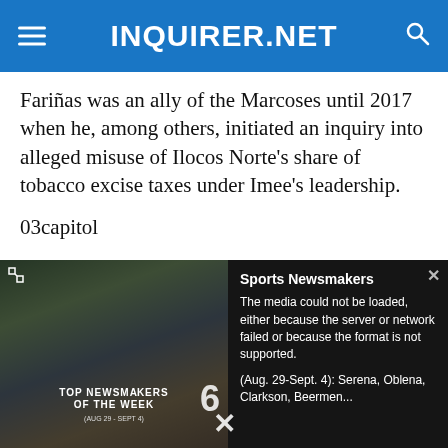INQUIRER.NET
Fariñas was an ally of the Marcoses until 2017 when he, among others, initiated an inquiry into alleged misuse of Ilocos Norte's share of tobacco excise taxes under Imee's leadership.
03capitol
MARCOS BAILIWICK Ilocos Norte will remain a bailiwick of the family of the late strongman Ferdinand Marcos, his son's election victory ensuring...
[Figure (screenshot): Media player error overlay showing 'The media could not be loaded, either because the server or network failed or because the format is not supported.' with a video thumbnail on the left showing 'TOP NEWSMAKERS OF THE WEEK' text and a Sports Newsmakers panel on the right with text 'Sports Newsmakers (Aug. 29-Sept. 4): Serena, Oblena, Clarkson, Beermen...']